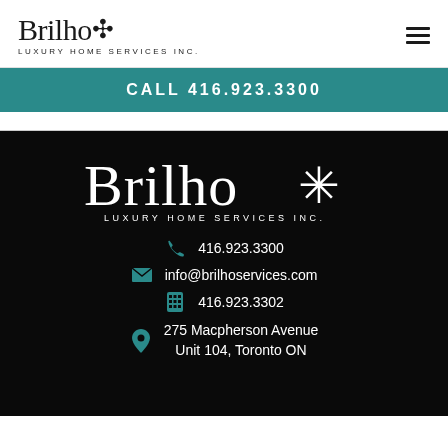[Figure (logo): Brilho Luxury Home Services Inc. logo in dark text on white background with asterisk/star symbol]
CALL 416.923.3300
[Figure (logo): Brilho Luxury Home Services Inc. large white logo on black background with asterisk/star symbol]
416.923.3300
info@brilhoservices.com
416.923.3302
275 Macpherson Avenue Unit 104, Toronto ON